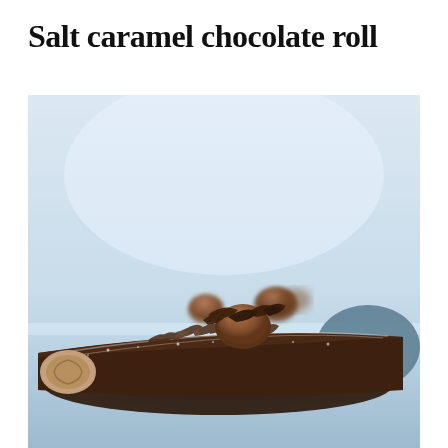Salt caramel chocolate roll
[Figure (photo): Close-up photograph of a chocolate Swiss roll dusted with powdered sugar, topped with chocolate shavings and chocolate truffle-style decorations, placed on a light blue surface with a blurred pale blue background.]